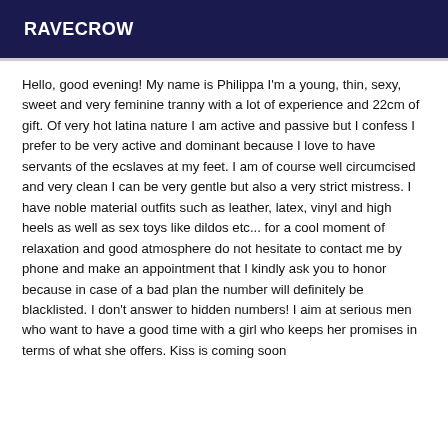RAVECROW
Hello, good evening! My name is Philippa I'm a young, thin, sexy, sweet and very feminine tranny with a lot of experience and 22cm of gift. Of very hot latina nature I am active and passive but I confess I prefer to be very active and dominant because I love to have servants of the ecslaves at my feet. I am of course well circumcised and very clean I can be very gentle but also a very strict mistress. I have noble material outfits such as leather, latex, vinyl and high heels as well as sex toys like dildos etc... for a cool moment of relaxation and good atmosphere do not hesitate to contact me by phone and make an appointment that I kindly ask you to honor because in case of a bad plan the number will definitely be blacklisted. I don't answer to hidden numbers! I aim at serious men who want to have a good time with a girl who keeps her promises in terms of what she offers. Kiss is coming soon